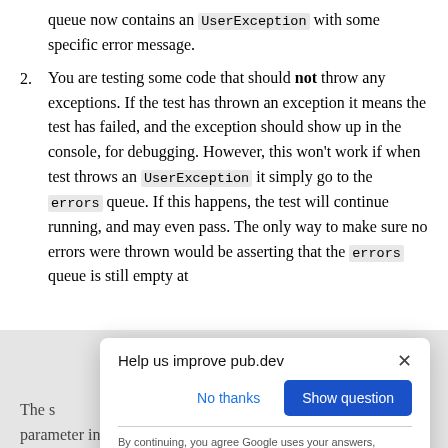queue now contains an UserException with some specific error message.
2. You are testing some code that should not throw any exceptions. If the test has thrown an exception it means the test has failed, and the exception should show up in the console, for debugging. However, this won't work if when test throws an UserException it simply go to the errors queue. If this happens, the test will continue running, and may even pass. The only way to make sure no errors were thrown would be asserting that the errors queue is still empty at t... t... r... w...
The s... parameter in the StoreTester constructor
Help us improve pub.dev
No thanks  Show question
By continuing, you agree Google uses your answers, account & system info to improve services, per our Privacy & Terms.